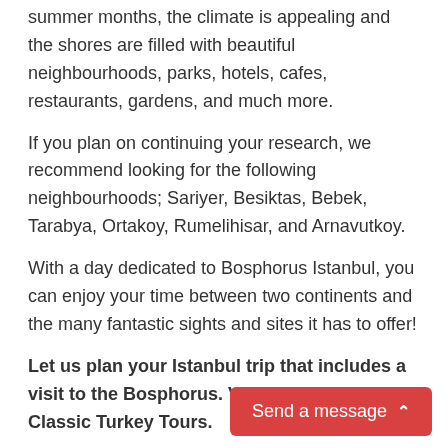summer months, the climate is appealing and the shores are filled with beautiful neighbourhoods, parks, hotels, cafes, restaurants, gardens, and much more.
If you plan on continuing your research, we recommend looking for the following neighbourhoods; Sariyer, Besiktas, Bebek, Tarabya, Ortakoy, Rumelihisar, and Arnavutkoy.
With a day dedicated to Bosphorus Istanbul, you can enjoy your time between two continents and the many fantastic sights and sites it has to offer!
Let us plan your Istanbul trip that includes a visit to the Bosphorus. Visit Istanbul with Classic Turkey Tours.
[Figure (other): Red 'Send a message' button with upward chevron arrow, positioned at bottom right of the page]